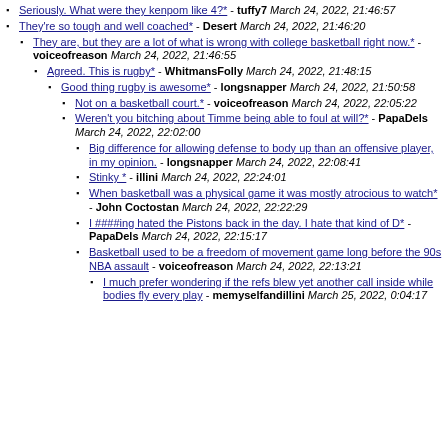Seriously. What were they kenpom like 4?* - tuffy7 March 24, 2022, 21:46:57
They're so tough and well coached* - Desert March 24, 2022, 21:46:20
They are, but they are a lot of what is wrong with college basketball right now.* - voiceofreason March 24, 2022, 21:46:55
Agreed. This is rugby* - WhitmansFolly March 24, 2022, 21:48:15
Good thing rugby is awesome* - longsnapper March 24, 2022, 21:50:58
Not on a basketball court.* - voiceofreason March 24, 2022, 22:05:22
Weren't you bitching about Timme being able to foul at will?* - PapaDels March 24, 2022, 22:02:00
Big difference for allowing defense to body up than an offensive player, in my opinion. - longsnapper March 24, 2022, 22:08:41
Stinky * - illini March 24, 2022, 22:24:01
When basketball was a physical game it was mostly atrocious to watch* - John Coctostan March 24, 2022, 22:22:29
I ####ing hated the Pistons back in the day. I hate that kind of D* - PapaDels March 24, 2022, 22:15:17
Basketball used to be a freedom of movement game long before the 90s NBA assault - voiceofreason March 24, 2022, 22:13:21
I much prefer wondering if the refs blew yet another call inside while bodies fly every play - memyselfandillini March 25, 2022, 0:04:17